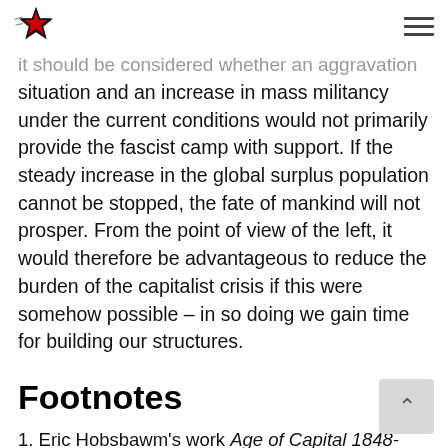[logo: star icon] [hamburger menu]
it should be considered whether an aggravation of the situation and an increase in mass militancy under the current conditions would not primarily provide the fascist camp with support. If the steady increase in the global surplus population cannot be stopped, the fate of mankind will not prosper. From the point of view of the left, it would therefore be advantageous to reduce the burden of the capitalist crisis if this were somehow possible – in so doing we gain time for building our structures.
Footnotes
1. Eric Hobsbawm's work Age of Capital 1848-1875 sheds light on this topic.